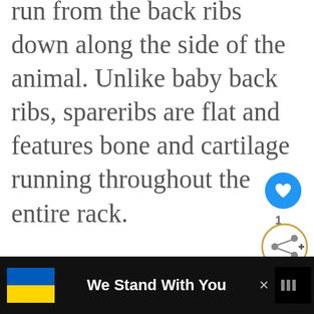run from the back ribs down along the side of the animal. Unlike baby back ribs, spareribs are flat and features bone and cartilage running throughout the entire rack.
Spareribs can be left as they are or fabricated into another type of rib. Spareribs that have been trimmed of their cartilage are called St. Louis ribs.
[Figure (other): UI overlay: blue circular heart/like button with count '1', share button circle, and 'WHAT'S NEXT' preview showing 'Smoking Brisket At 25...']
[Figure (other): Advertisement banner: black background with Ukrainian flag (blue and yellow), bold white text 'We Stand With You', close X button, and CNN logo mark]